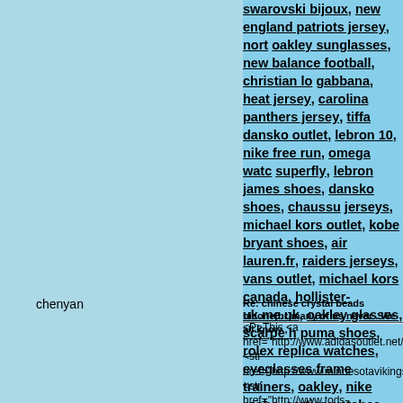swarovski bijoux, new england patriots jersey, nort oakley sunglasses, new balance football, christian lo gabbana, heat jersey, carolina panthers jersey, tiffa dansko outlet, lebron 10, nike free run, omega watc superfly, lebron james shoes, dansko shoes, chaussu jerseys, michael kors outlet, kobe bryant shoes, air lauren.fr, raiders jerseys, vans outlet, michael kors canada, hollister-uk.me.uk, oakley glasses, scarpe h puma shoes, rolex replica watches, eyeglasses frame trainers, oakley, nike roshe, cartier watches, sac--ch michael kors outlet, louis vuitton uk, packers jersey burberry, fitflops, manchester united jersey, harrod shoes, mac make up, nike mercurial, chanel, conver new-balance-femme-574.fr, fitflop, lebronjame-sh watches, michael-jordan.it, oakley sunglasses, adid burberry outlet, guess, five finger shoes, new york k chanel bags, real madrid jersey, ugg outlet, jordan
chenyan
Re: chinese crystal beads bicone[br]many of us never . We all know ,
<P>This <a href="http://www.adidasoutlet.net/"><str href="http://www.minnesotavikingsjerseys.net/"><str href="http://www.tods-shoes.org/"><strong>tod's shoe href="http://www.harrodslondon.org.uk/"><strong>ha href="http://www.uggboots.mex.com/"><strong>ugg c outlet.us.com/"><strong>chanel bags</strong></a> a makeup</strong></a> man <a href="http://www.air-jo href="http://www.asics-gellyte.fr/"><strong>asics